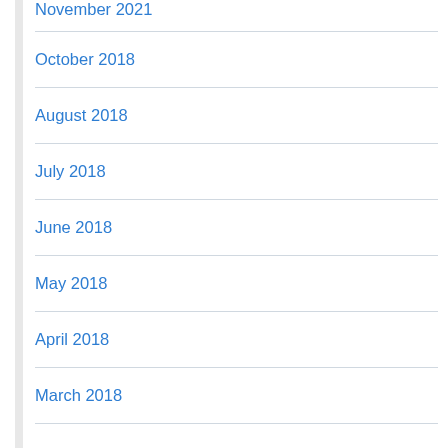November 2021
October 2018
August 2018
July 2018
June 2018
May 2018
April 2018
March 2018